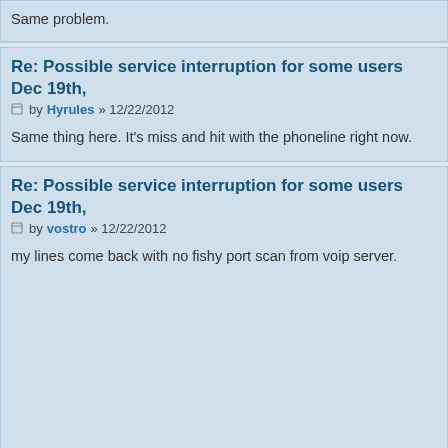Same problem.
Re: Possible service interruption for some users Dec 19th,
by Hyrules » 12/22/2012
Same thing here. It's miss and hit with the phoneline right now.
Re: Possible service interruption for some users Dec 19th,
by vostro » 12/22/2012
my lines come back with no fishy port scan from voip server.